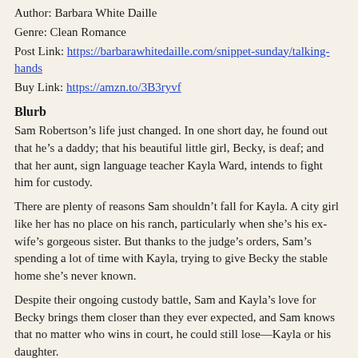Author: Barbara White Daille
Genre: Clean Romance
Post Link: https://barbarawhitedaille.com/snippet-sunday/talking-hands
Buy Link: https://amzn.to/3B3ryvf
Blurb
Sam Robertson’s life just changed. In one short day, he found out that he’s a daddy; that his beautiful little girl, Becky, is deaf; and that her aunt, sign language teacher Kayla Ward, intends to fight him for custody.
There are plenty of reasons Sam shouldn’t fall for Kayla. A city girl like her has no place on his ranch, particularly when she’s his ex-wife’s gorgeous sister. But thanks to the judge’s orders, Sam’s spending a lot of time with Kayla, trying to give Becky the stable home she’s never known.
Despite their ongoing custody battle, Sam and Kayla’s love for Becky brings them closer than they ever expected, and Sam knows that no matter who wins in court, he could still lose—Kayla or his daughter.